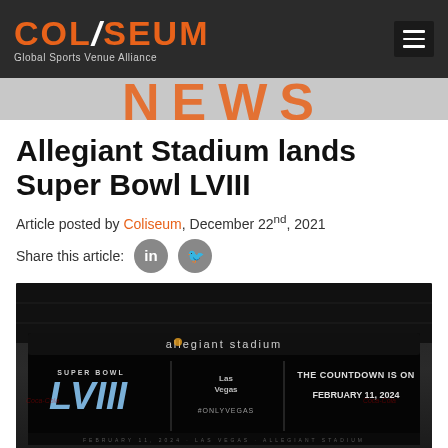COLISEUM — Global Sports Venue Alliance
[Figure (photo): NEWS banner in orange with large bold white-stroked text]
Allegiant Stadium lands Super Bowl LVIII
Article posted by Coliseum, December 22nd, 2021
Share this article:
[Figure (photo): Interior photo of Allegiant Stadium showing LED scoreboard with 'allegiant stadium' text and Super Bowl LVIII announcement: THE COUNTDOWN IS ON FEBRUARY 11, 2024 with Las Vegas logo and #ONLYVEGAS hashtag]